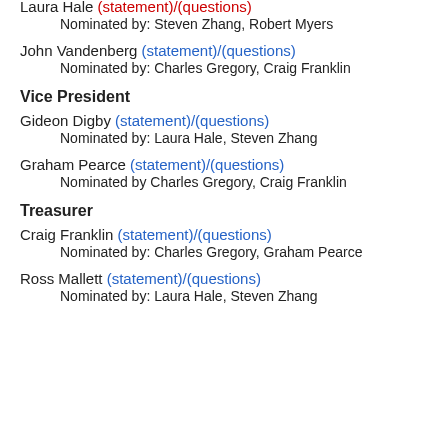Laura Hale (statement)/(questions)
    Nominated by: Steven Zhang, Robert Myers
John Vandenberg (statement)/(questions)
    Nominated by: Charles Gregory, Craig Franklin
Vice President
Gideon Digby (statement)/(questions)
    Nominated by: Laura Hale, Steven Zhang
Graham Pearce (statement)/(questions)
    Nominated by Charles Gregory, Craig Franklin
Treasurer
Craig Franklin (statement)/(questions)
    Nominated by: Charles Gregory, Graham Pearce
Ross Mallett (statement)/(questions)
    Nominated by: Laura Hale, Steven Zhang